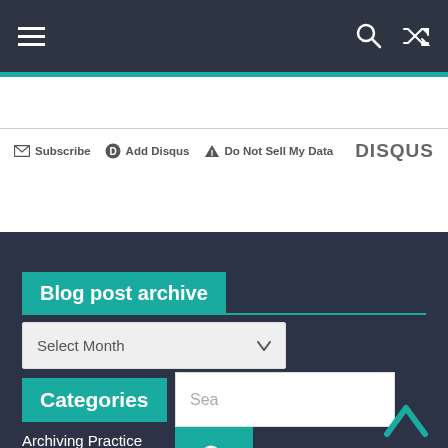Navigation bar with hamburger menu, search icon, and shuffle icon
Subscribe  Add Disqus  Do Not Sell My Data  DISQUS
Blog post archive
Select Month
Categories
Sea
Archiving Practice
Art
Behind the scenes